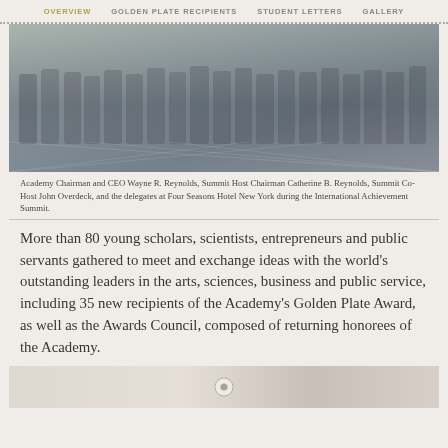OVERVIEW | GOLDEN PLATE RECIPIENTS | STUDENT LETTERS | GALLERY
[Figure (photo): Group photo of Academy Chairman, CEO, Summit Host Chairman, Summit Co-Host, and delegates at Four Seasons Hotel New York during the International Achievement Summit.]
Academy Chairman and CEO Wayne R. Reynolds, Summit Host Chairman Catherine B. Reynolds, Summit Co-Host John Overdeck, and the delegates at Four Seasons Hotel New York during the International Achievement Summit.
More than 80 young scholars, scientists, entrepreneurs and public servants gathered to meet and exchange ideas with the world's outstanding leaders in the arts, sciences, business and public service, including 35 new recipients of the Academy's Golden Plate Award, as well as the Awards Council, composed of returning honorees of the Academy.
[Figure (photo): Partial view of another photo at the bottom of the page.]